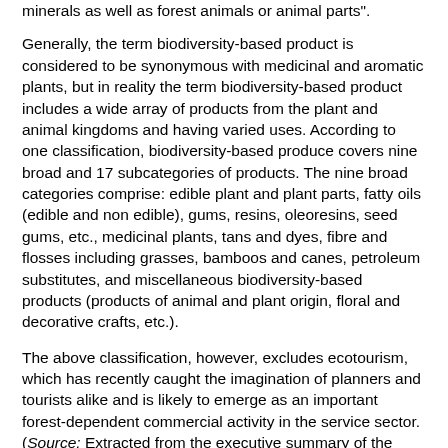minerals as well as forest animals or animal parts".
Generally, the term biodiversity-based product is considered to be synonymous with medicinal and aromatic plants, but in reality the term biodiversity-based product includes a wide array of products from the plant and animal kingdoms and having varied uses. According to one classification, biodiversity-based produce covers nine broad and 17 subcategories of products. The nine broad categories comprise: edible plant and plant parts, fatty oils (edible and non edible), gums, resins, oleoresins, seed gums, etc., medicinal plants, tans and dyes, fibre and flosses including grasses, bamboos and canes, petroleum substitutes, and miscellaneous biodiversity-based products (products of animal and plant origin, floral and decorative crafts, etc.).
The above classification, however, excludes ecotourism, which has recently caught the imagination of planners and tourists alike and is likely to emerge as an important forest-dependent commercial activity in the service sector. (Source: Extracted from the executive summary of the research study, Bio-diversity based products for poverty alleviation in Madhya Pradesh.)
For more information, please contact:
Dr R. Sugandhi,
Senior Research Officer and President,
Peoples for Animals, 179,
Kalpana Nagar, Raisen Road,
Bhopal (M.P.) 462 001.